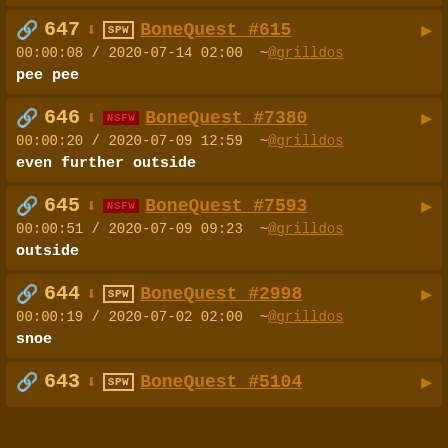647 SPW BoneQuest #615 00:00:08 / 2020-07-14 02:00 ~@grilldos pee pee
646 NSFW BoneQuest #7380 00:00:20 / 2020-07-09 12:59 ~@grilldos even further outside
645 NSFW BoneQuest #7593 00:00:51 / 2020-07-09 09:23 ~@grilldos outside
644 SPW BoneQuest #2998 00:00:19 / 2020-07-02 02:00 ~@grilldos snoe
643 SPW BoneQuest #5104